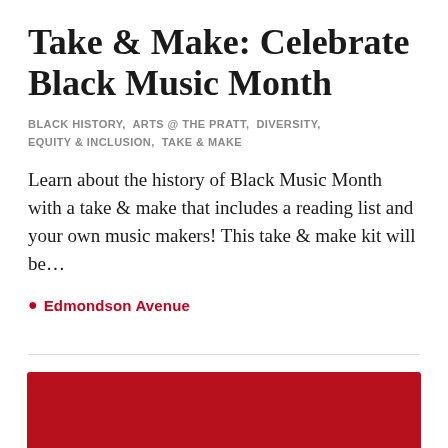Take & Make: Celebrate Black Music Month
BLACK HISTORY,  ARTS @ THE PRATT,  DIVERSITY, EQUITY & INCLUSION,  TAKE & MAKE
Learn about the history of Black Music Month with a take & make that includes a reading list and your own music makers! This take & make kit will be…
📍 Edmondson Avenue
[Figure (photo): Red rectangular image block at the bottom of the card, partially visible]